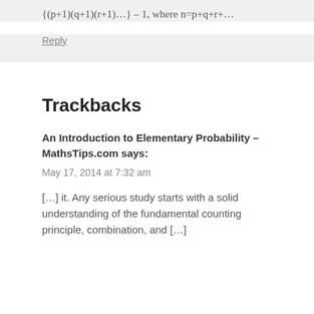Reply
Trackbacks
An Introduction to Elementary Probability – MathsTips.com says:
May 17, 2014 at 7:32 am
[…] it. Any serious study starts with a solid understanding of the fundamental counting principle, combination, and […]